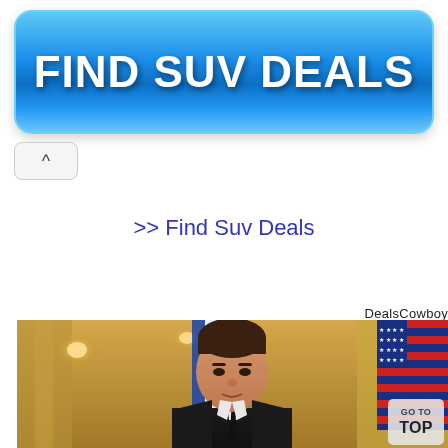[Figure (other): Blue gradient button with bold white text reading FIND SUV DEALS]
^
>> Find Suv Deals
DealsCowboy
[Figure (photo): Photo of a young man in a suit speaking at a podium with American and Israeli flags in the background, in an ornate golden room]
GO TO TOP